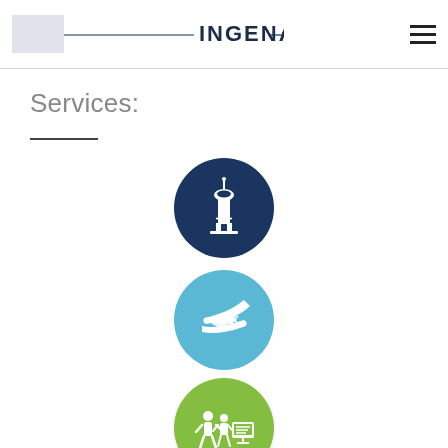INGENAV
Services:
[Figure (illustration): Dark navy blue circle icon with white air traffic control tower silhouette]
[Figure (illustration): Light blue circle icon with white hands cradling an airplane]
[Figure (illustration): Green circle icon with white figures of a person and instructor with a computer screen]